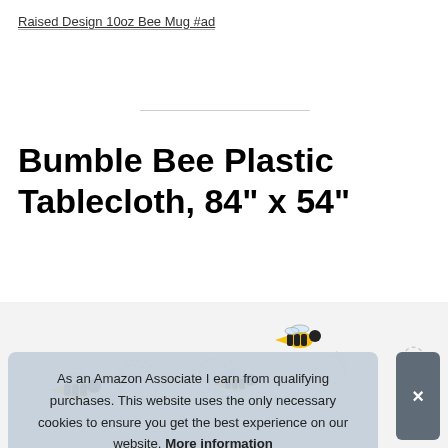Raised Design 10oz Bee Mug #ad
Bumble Bee Plastic Tablecloth, 84" x 54"
[Figure (illustration): Decorative tablecloth product image showing bumble bee illustrations and spiral curl designs on a light gray/white background]
As an Amazon Associate I earn from qualifying purchases. This website uses the only necessary cookies to ensure you get the best experience on our website. More information